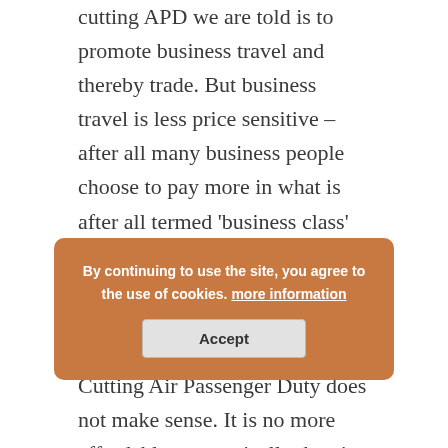cutting APD we are told is to promote business travel and thereby trade. But business travel is less price sensitive – after all many business people choose to pay more in what is after all termed 'business class' seats. So are they really going to be swayed by a reduction in APD?
Cutting Air Passenger Duty does not make sense. It is no more affordable economically than it is environmentally. It is inequitable, driving high carbon transport over lower carbon. And I believe it misses a wider point. Many of the people in the half of the population who never fly, pay this particular tax. So in our efforts to move towards a more sustainable and low carbon economy, cutting APD is, in every sense of the phrase, simply the wrong
By continuing to use the site, you agree to the use of cookies. more information
Accept